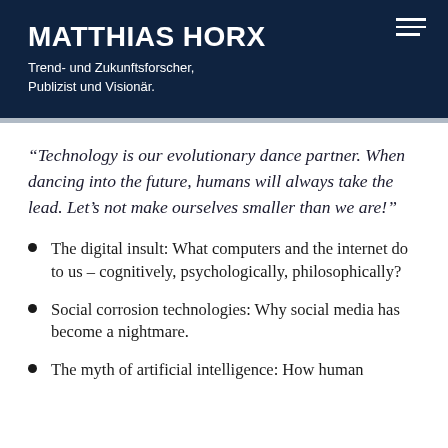MATTHIAS HORX
Trend- und Zukunftsforscher, Publizist und Visionär.
“Technology is our evolutionary dance partner. When dancing into the future, humans will always take the lead. Let’s not make ourselves smaller than we are!”
The digital insult: What computers and the internet do to us – cognitively, psychologically, philosophically?
Social corrosion technologies: Why social media has become a nightmare.
The myth of artificial intelligence: How human